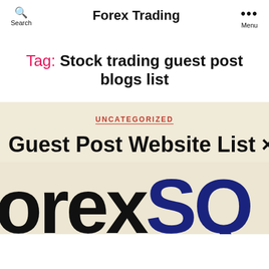Search | Forex Trading | Menu
Tag: Stock trading guest post blogs list
UNCATEGORIZED
Guest Post Website List ×
[Figure (logo): Partial logo reading 'orexSQ' in black and dark blue large bold letters on a beige/cream background]